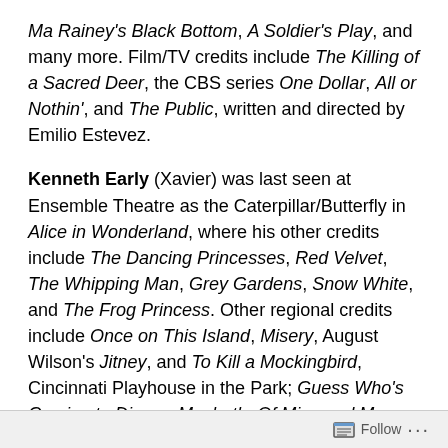Ma Rainey's Black Bottom, A Soldier's Play, and many more. Film/TV credits include The Killing of a Sacred Deer, the CBS series One Dollar, All or Nothin', and The Public, written and directed by Emilio Estevez.
Kenneth Early (Xavier) was last seen at Ensemble Theatre as the Caterpillar/Butterfly in Alice in Wonderland, where his other credits include The Dancing Princesses, Red Velvet, The Whipping Man, Grey Gardens, Snow White, and The Frog Princess. Other regional credits include Once on This Island, Misery, August Wilson's Jitney, and To Kill a Mockingbird, Cincinnati Playhouse in the Park; Guess Who's Coming to Dinner, Macbeth, Of Mice and Men, and To Kill a Mockingbird, Cincinnati Shakespeare Company; On Golden Pond, The Human Race Theatre; Once on This Island, Actor's Theater of
Follow